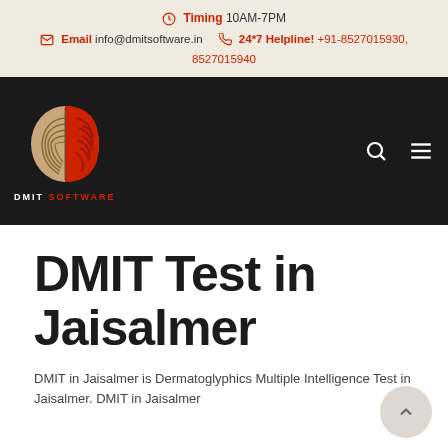Timing 10AM-7PM | Email info@dmitsoftware.in | 24*7 Helpline! +91-8527015930, 8527015940
[Figure (logo): DMIT Software logo — stylized brain with fingerprint pattern on the left half (beige/tan) and red brain on the right half, with text 'DMIT SOFTWARE' below]
DMIT Test in Jaisalmer
DMIT in Jaisalmer is Dermatoglyphics Multiple Intelligence Test in Jaisalmer. DMIT in Jaisalmer